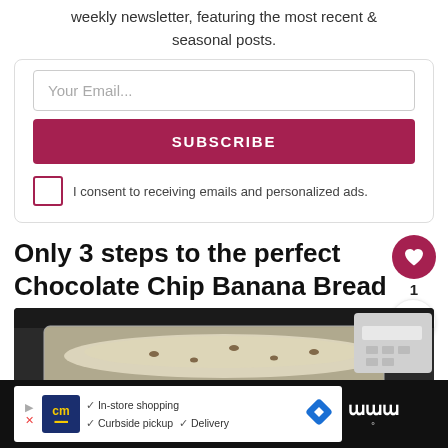weekly newsletter, featuring the most recent & seasonal posts.
[Figure (screenshot): Email subscription form with input field and SUBSCRIBE button]
I consent to receiving emails and personalized ads.
Only 3 steps to the perfect Chocolate Chip Banana Bread
[Figure (photo): Banana bread batter in a glass baking dish on a stove]
[Figure (screenshot): Advertisement bar: CM store, In-store shopping, Curbside pickup, Delivery]